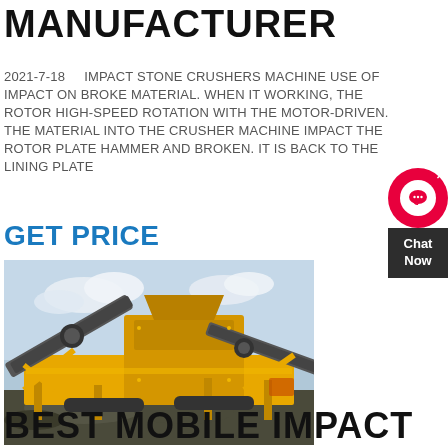MANUFACTURER
2021-7-18    IMPACT STONE CRUSHERS MACHINE USE OF IMPACT ON BROKE MATERIAL. WHEN IT WORKING, THE ROTOR HIGH-SPEED ROTATION WITH THE MOTOR-DRIVEN. THE MATERIAL INTO THE CRUSHER MACHINE IMPACT THE ROTOR PLATE HAMMER AND BROKEN. IT IS BACK TO THE LINING PLATE
GET PRICE
[Figure (photo): Yellow industrial mobile impact stone crusher machine on a job site with conveyor belts, set against a cloudy sky background.]
BEST MOBILE IMPACT